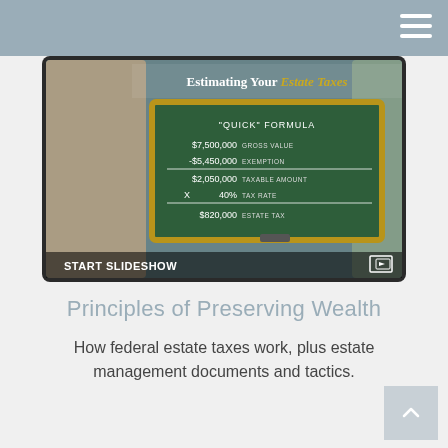[Figure (screenshot): A tablet displaying a slideshow titled 'Estimating Your Estate Taxes' showing a chalkboard with a 'Quick Formula': $7,500,000 Gross Value minus -$5,450,000 Exemption equals $2,050,000 Taxable Amount times X 40% Tax Rate equals $820,000 Estate Tax. The bottom of the image shows 'START SLIDESHOW' text and a slideshow icon.]
Principles of Preserving Wealth
How federal estate taxes work, plus estate management documents and tactics.